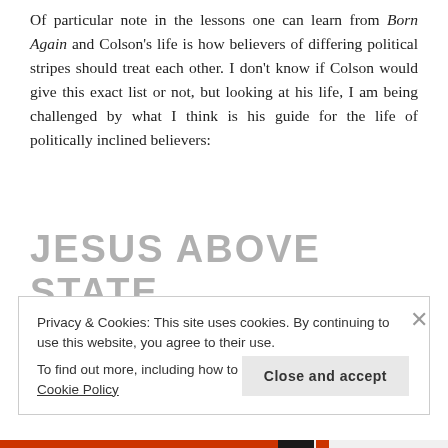Of particular note in the lessons one can learn from Born Again and Colson's life is how believers of differing political stripes should treat each other. I don't know if Colson would give this exact list or not, but looking at his life, I am being challenged by what I think is his guide for the life of politically inclined believers:
JESUS ABOVE STATE
Privacy & Cookies: This site uses cookies. By continuing to use this website, you agree to their use.
To find out more, including how to control cookies, see here: Cookie Policy